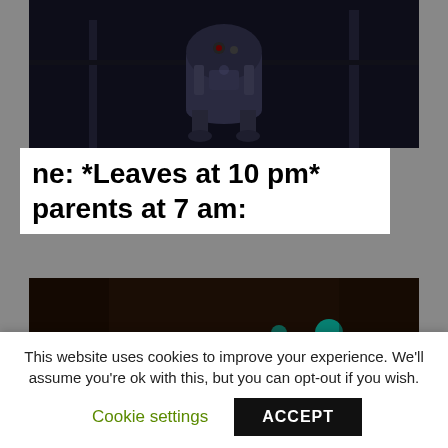[Figure (photo): Dark scene from Star Wars showing R2-D2 robot droid against a dark background]
ne: *Leaves at 10 pm*
parents at 7 am:
[Figure (photo): Close-up of a tired, disheveled person's face with dark circles under eyes, from a dark sci-fi scene with colored lights in background]
This website uses cookies to improve your experience. We'll assume you're ok with this, but you can opt-out if you wish.
Cookie settings
ACCEPT